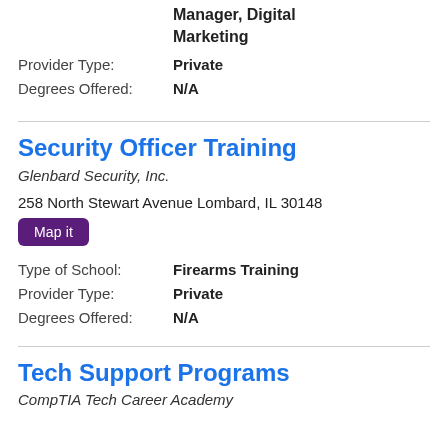Manager, Digital Marketing
Provider Type: Private
Degrees Offered: N/A
Security Officer Training
Glenbard Security, Inc.
258 North Stewart Avenue Lombard, IL 30148
Map it
Type of School: Firearms Training
Provider Type: Private
Degrees Offered: N/A
Tech Support Programs
CompTIA Tech Career Academy